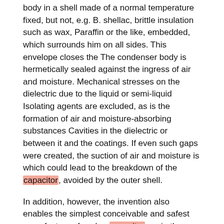body in a shell made of a normal temperature fixed, but not, e.g. B. shellac, brittle insulation such as wax, Paraffin or the like, embedded, which surrounds him on all sides. This envelope closes the The condenser body is hermetically sealed against the ingress of air and moisture. Mechanical stresses on the dielectric due to the liquid or semi-liquid Isolating agents are excluded, as is the formation of air and moisture-absorbing substances Cavities in the dielectric or between it and the coatings. If even such gaps were created, the suction of air and moisture is which could lead to the breakdown of the capacitor, avoided by the outer shell.
In addition, however, the invention also enables the simplest conceivable and safest manufacture of such a capacitor, as in the exemplary embodiment the drawing is to be explained, in Fig. i a front view, Fig. 2 a Section along the line II-II in Fig. I and Fig. 3 is a perspective view represent a finished capacitor according to the invention, for example.
The capacitor body itself can be manufactured in any known manner; but in particular consist of thin, elongated metal strips as an occupancy, which by a suitable